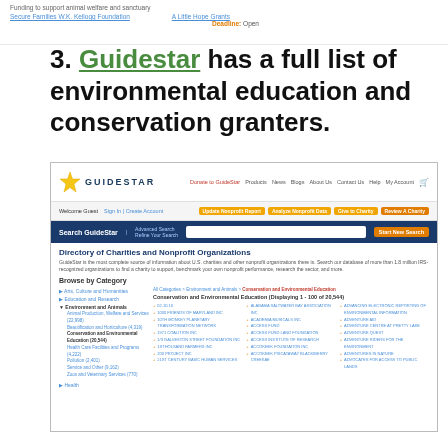Funding to support animal welfare and sanctuary
Secure Families W.K. Kellogg Foundation
A Little Hope Grants Deadline: Open
3. Guidestar has a full list of environmental education and conservation granters.
[Figure (screenshot): Screenshot of the GuideStar website showing the Directory of Charities and Nonprofit Organizations page, with a search bar, Browse by Category section, and a list of Conservation and Environmental Education organizations.]